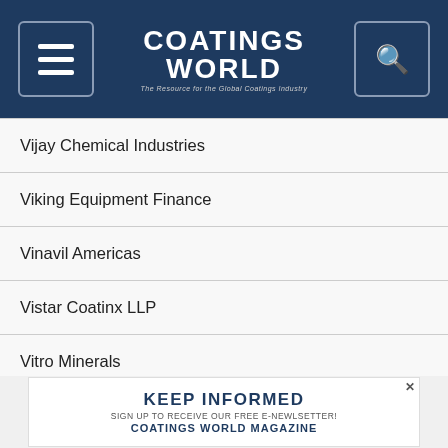Coatings World — The Resource for the Global Coatings Industry
Vijay Chemical Industries
Viking Equipment Finance
Vinavil Americas
Vistar Coatinx LLP
Vitro Minerals
Vitusa Products Inc
Viva Corporation
VMA-Getzmann GmbH
Vulcan Catalytic Infrared Oven Systems
KEEP INFORMED — SIGN UP TO RECEIVE OUR FREE E-NEWLSETTER! COATINGS WORLD MAGAZINE